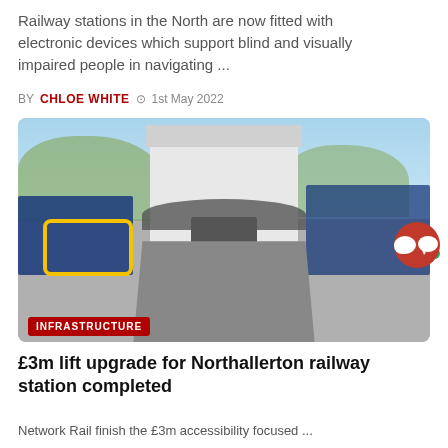Railway stations in the North are now fitted with electronic devices which support blind and visually impaired people in navigating ...
BY CHLOE WHITE  ⊙ 1st May 2022
[Figure (photo): A railway station lift entrance with a blue metal railing ramp, a white building with canopy, and trees in the background. An 'INFRASTRUCTURE' tag overlays the bottom-left of the image.]
£3m lift upgrade for Northallerton railway station completed
Network Rail finish the £3m accessibility focused ...